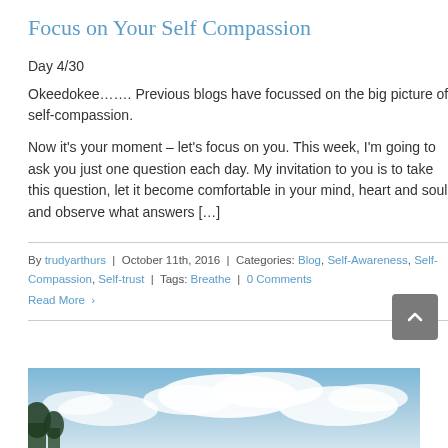Focus on Your Self Compassion
Day 4/30
Okeedokee……. Previous blogs have focussed on the big picture of self-compassion.
Now it's your moment – let's focus on you. This week, I'm going to ask you just one question each day. My invitation to you is to take this question, let it become comfortable in your mind, heart and soul, and observe what answers […]
By trudyarthurs | October 11th, 2016 | Categories: Blog, Self-Awareness, Self-Compassion, Self-trust | Tags: Breathe | 0 Comments
Read More >
[Figure (photo): Sky with clouds, trees visible at bottom left]